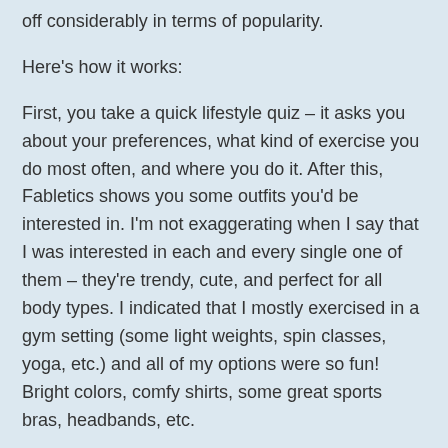off considerably in terms of popularity.
Here's how it works:
First, you take a quick lifestyle quiz – it asks you about your preferences, what kind of exercise you do most often, and where you do it. After this, Fabletics shows you some outfits you'd be interested in. I'm not exaggerating when I say that I was interested in each and every single one of them – they're trendy, cute, and perfect for all body types. I indicated that I mostly exercised in a gym setting (some light weights, spin classes, yoga, etc.) and all of my options were so fun! Bright colors, comfy shirts, some great sports bras, headbands, etc.
At this point, you can opt to choose their VIP membership program. What this means is that each month, Fabletics sends you their latest deals and outfit combos – these start around $50 (which, for me, is a